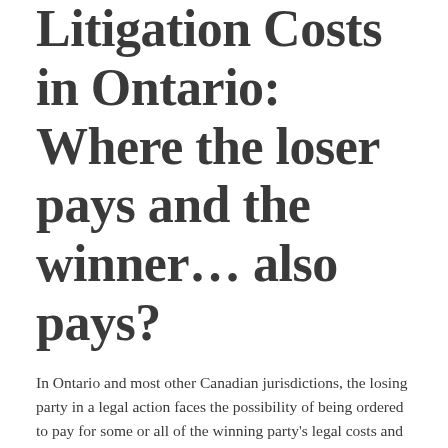Litigation Costs in Ontario: Where the loser pays and the winner… also pays?
In Ontario and most other Canadian jurisdictions, the losing party in a legal action faces the possibility of being ordered to pay for some or all of the winning party's legal costs and disbursements.
Who gets paid and how much? This is up to the Court to decide.